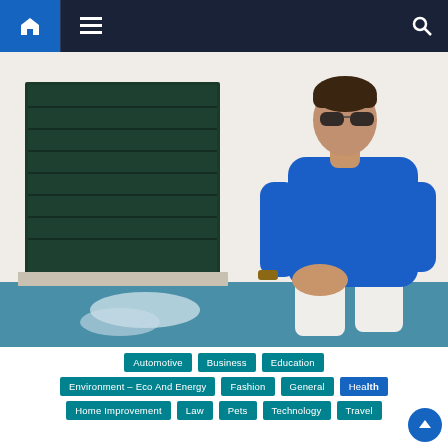Navigation bar with home, menu, and search icons
[Figure (photo): Man in a blue shirt and white pants sitting on a blue ledge against a white wall with a dark green window shutter]
Automotive
Business
Education
Environment - Eco And Energy
Fashion
General
Health
Home Improvement
Law
Pets
Technology
Travel